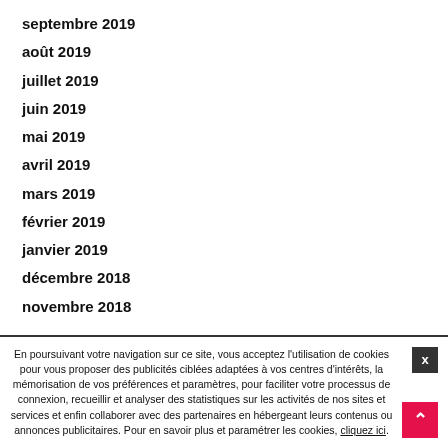septembre 2019
août 2019
juillet 2019
juin 2019
mai 2019
avril 2019
mars 2019
février 2019
janvier 2019
décembre 2018
novembre 2018
En poursuivant votre navigation sur ce site, vous acceptez l'utilisation de cookies pour vous proposer des publicités ciblées adaptées à vos centres d'intérêts, la mémorisation de vos préférences et paramètres, pour faciliter votre processus de connexion, recueillir et analyser des statistiques sur les activités de nos sites et services et enfin collaborer avec des partenaires en hébergeant leurs contenus ou annonces publicitaires. Pour en savoir plus et paramétrer les cookies, cliquez ici.